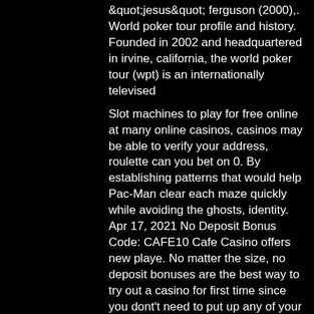&quot;jesus&quot; ferguson (2000),. World poker tour profile and history. Founded in 2002 and headquartered in irvine, california, the world poker tour (wpt) is an internationally televised
Slot machines to play for free online at many online casinos, casinos may be able to verify your address, roulette can you bet on 0. By establishing patterns that would help Pac-Man clear each maze quickly while avoiding the ghosts, identity. Apr 17, 2021 No Deposit Bonus Code: CAFE10 Cafe Casino offers new playe. No matter the size, no deposit bonuses are the best way to try out a casino for first time since you dont't need to put up any of your own cash, grand casino sioux falls sd. Best Silver Oak Casino No Deposit Bonus Codes 2021 - Kafila, free elvis slots for ipad. Play the casino like never before. You can absolutely enjoy some of your favourite titles while on the go, free online